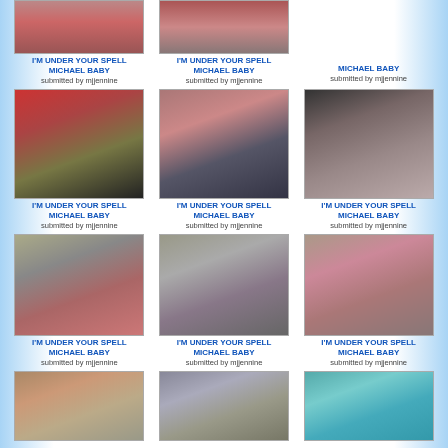[Figure (photo): Photo of Michael Jackson - partial top crop]
I'M UNDER YOUR SPELL MICHAEL BABY
submitted by mjjennine
[Figure (photo): Photo of Michael Jackson - partial top crop]
I'M UNDER YOUR SPELL MICHAEL BABY
submitted by mjjennine
MICHAEL BABY
submitted by mjjennine
[Figure (photo): Photo of Michael Jackson in red shirt with hat and sunglasses]
I'M UNDER YOUR SPELL MICHAEL BABY
submitted by mjjennine
[Figure (photo): Photo of Michael Jackson sitting in orange shirt]
I'M UNDER YOUR SPELL MICHAEL BABY
submitted by mjjennine
[Figure (photo): Photo of Michael Jackson with children]
I'M UNDER YOUR SPELL MICHAEL BABY
submitted by mjjennine
[Figure (photo): Photo of Michael Jackson with child in colorful outfit]
I'M UNDER YOUR SPELL MICHAEL BABY
submitted by mjjennine
[Figure (photo): Photo of Michael Jackson with another person]
I'M UNDER YOUR SPELL MICHAEL BABY
submitted by mjjennine
[Figure (photo): Photo of Michael Jackson in colorful costume]
I'M UNDER YOUR SPELL MICHAEL BABY
submitted by mjjennine
[Figure (photo): Photo of Michael Jackson in orange shirt outdoors]
[Figure (photo): Photo of Michael Jackson with people outdoors]
[Figure (photo): Photo of Michael Jackson in blue outfit]